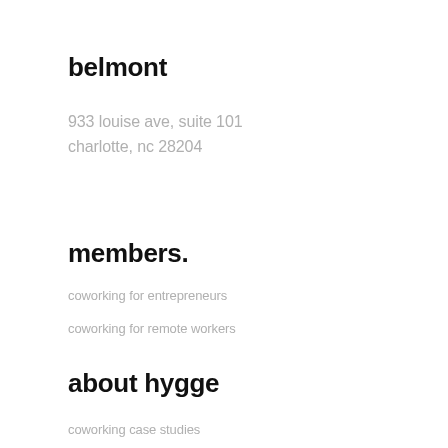belmont
933 louise ave, suite 101
charlotte, nc 28204
members.
coworking for entrepreneurs
coworking for remote workers
about hygge
coworking case studies